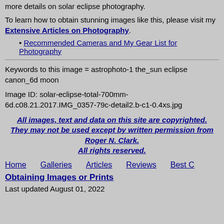more details on solar eclipse photography.
To learn how to obtain stunning images like this, please visit my Extensive Articles on Photography.
Recommended Cameras and My Gear List for Photography
Keywords to this image = astrophoto-1 the_sun eclipse canon_6d moon
Image ID: solar-eclipse-total-700mm-6d.c08.21.2017.IMG_0357-79c-detail2.b-c1-0.4xs.jpg
All images, text and data on this site are copyrighted. They may not be used except by written permission from Roger N. Clark. All rights reserved.
Home  Galleries  Articles  Reviews  Best C
Obtaining Images or Prints
Last updated August 01, 2022